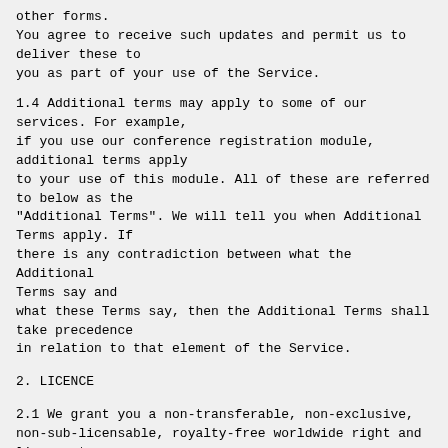other forms.
You agree to receive such updates and permit us to deliver these to
you as part of your use of the Service.
1.4 Additional terms may apply to some of our services. For example,
if you use our conference registration module, additional terms apply
to your use of this module. All of these are referred to below as the
"Additional Terms". We will tell you when Additional Terms apply. If
there is any contradiction between what the Additional Terms say and
what these Terms say, then the Additional Terms shall take precedence
in relation to that element of the Service.
2. LICENCE
2.1 We grant you a non-transferable, non-exclusive,
non-sub-licensable, royalty-free worldwide right and licence to use
the Service. It does not include the right for you (or any third
party) to copy, adapt, modify, resell or repurpose any
EasyChair Ltd.